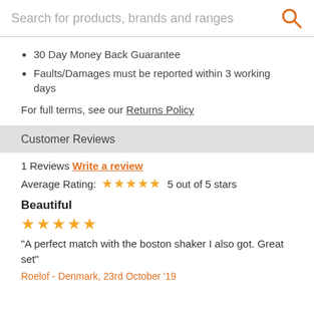Search for products, brands and ranges
30 Day Money Back Guarantee
Faults/Damages must be reported within 3 working days
For full terms, see our Returns Policy
Customer Reviews
1 Reviews Write a review
Average Rating: 5 out of 5 stars
Beautiful
"A perfect match with the boston shaker I also got. Great set"
Roelof - Denmark, 23rd October '19